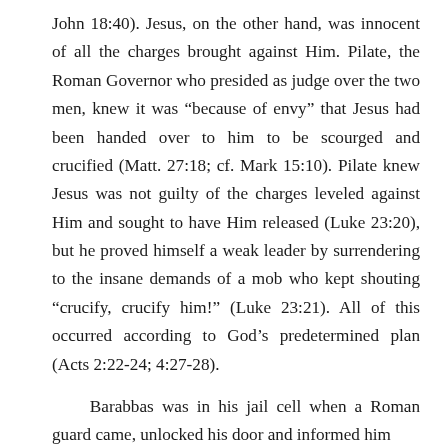John 18:40). Jesus, on the other hand, was innocent of all the charges brought against Him. Pilate, the Roman Governor who presided as judge over the two men, knew it was “because of envy” that Jesus had been handed over to him to be scourged and crucified (Matt. 27:18; cf. Mark 15:10). Pilate knew Jesus was not guilty of the charges leveled against Him and sought to have Him released (Luke 23:20), but he proved himself a weak leader by surrendering to the insane demands of a mob who kept shouting “crucify, crucify him!” (Luke 23:21). All of this occurred according to God’s predetermined plan (Acts 2:22-24; 4:27-28).
Barabbas was in his jail cell when a Roman guard came, unlocked his door and informed him